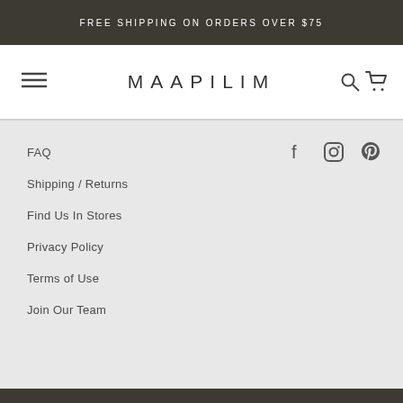FREE SHIPPING ON ORDERS OVER $75
MAAPILIM
FAQ
Shipping / Returns
Find Us In Stores
Privacy Policy
Terms of Use
Join Our Team